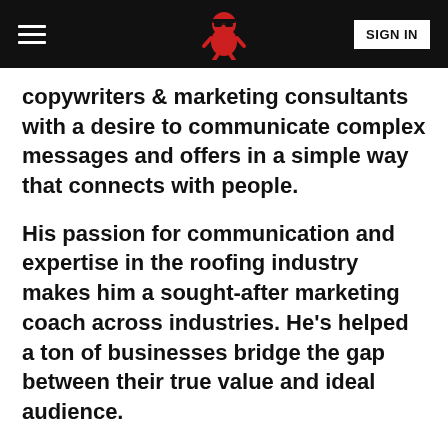SIGN IN
copywriters & marketing consultants with a desire to communicate complex messages and offers in a simple way that connects with people.
His passion for communication and expertise in the roofing industry makes him a sought-after marketing coach across industries. He's helped a ton of businesses bridge the gap between their true value and ideal audience.
In this episode, we chat about the importance of emotion to hook your ideal audience, the kind of communication style needed to craft a compelling offer, and how to sustain predictable business growth.